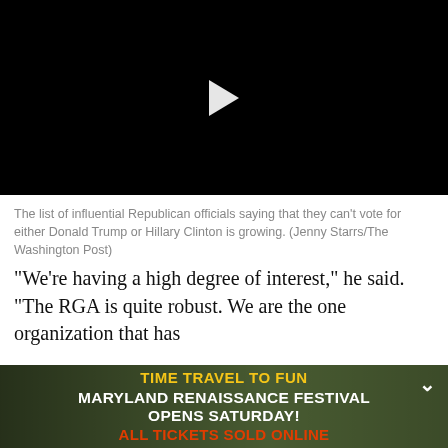[Figure (screenshot): Black video player area with white play button triangle in the center]
The list of influential Republican officials saying that they can't vote for either Donald Trump or Hillary Clinton is growing. (Jenny Starrs/The Washington Post)
“We’re having a high degree of interest,” he said. “The RGA is quite robust. We are the one organization that has
[Figure (screenshot): Advertisement banner for Maryland Renaissance Festival with dark forest background and costumed performers. Text reads: TIME TRAVEL TO FUN / MARYLAND RENAISSANCE FESTIVAL / OPENS SATURDAY! / ALL TICKETS SOLD ONLINE]